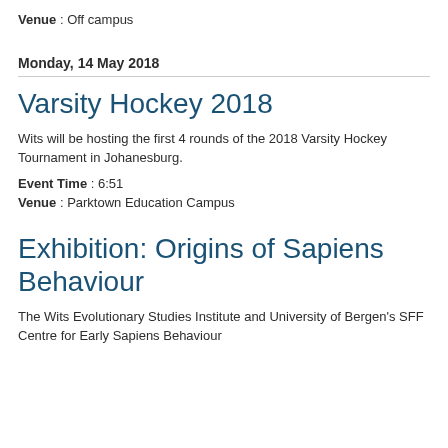Venue : Off campus
Monday, 14 May 2018
Varsity Hockey 2018
Wits will be hosting the first 4 rounds of the 2018 Varsity Hockey Tournament in Johanesburg.
Event Time : 6:51
Venue : Parktown Education Campus
Exhibition: Origins of Sapiens Behaviour
The Wits Evolutionary Studies Institute and University of Bergen's SFF Centre for Early Sapiens Behaviour